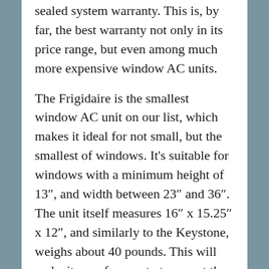sealed system warranty. This is, by far, the best warranty not only in its price range, but even among much more expensive window AC units.
The Frigidaire is the smallest window AC unit on our list, which makes it ideal for not small, but the smallest of windows. It’s suitable for windows with a minimum height of 13″, and width between 23″ and 36″. The unit itself measures 16″ x 15.25″ x 12″, and similarly to the Keystone, weighs about 40 pounds. This will make it easy for you to transport the unit whenever necessary.